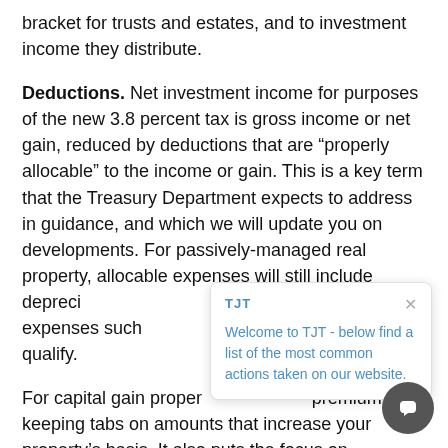bracket for trusts and estates, and to investment income they distribute.
Deductions. Net investment income for purposes of the new 3.8 percent tax is gross income or net gain, reduced by deductions that are “properly allocable” to the income or gain. This is a key term that the Treasury Department expects to address in guidance, and which we will update you on developments. For passively-managed real property, allocable expenses will still include depreciation and mortgage interest. Indirect expenses such as property taxes would also qualify.
For capital gain property, this puts a premium on keeping tabs on amounts that increase your property’s basis. It also puts the focus on investment expenses that may reduce net gains: interest on loans to purchase investments, investment counsel and advice, and fees to collect